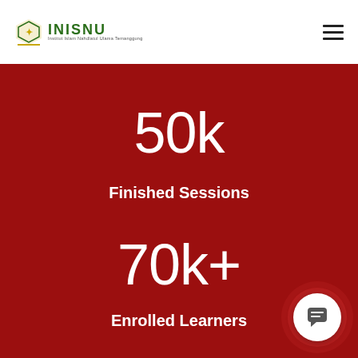INISNU — Institut Islam Nahdlatul Ulama Temanggung
50k
Finished Sessions
70k+
Enrolled Learners